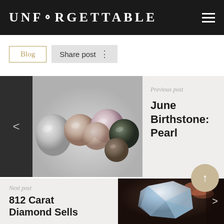UNFORGETTABLE
Blog
Share post
[Figure (photo): Multiple loose pearls of various colors (white, pink, lavender, dark green/black, bronze) on a light gray background]
Previous post
June Birthstone: Pearl
[Figure (photo): Large rough diamond crystal being held, illuminated against a dark background]
Next post
812 Carat Diamond Sells